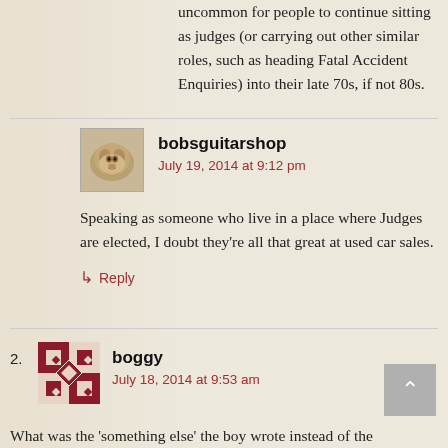uncommon for people to continue sitting as judges (or carrying out other similar roles, such as heading Fatal Accident Enquiries) into their late 70s, if not 80s.
bobsguitarshop
July 19, 2014 at 9:12 pm

Speaking as someone who live in a place where Judges are elected, I doubt they’re all that great at used car sales.

↵ Reply
2. boggy
July 18, 2014 at 9:53 am
What was the ‘something else’ the boy wrote instead of the